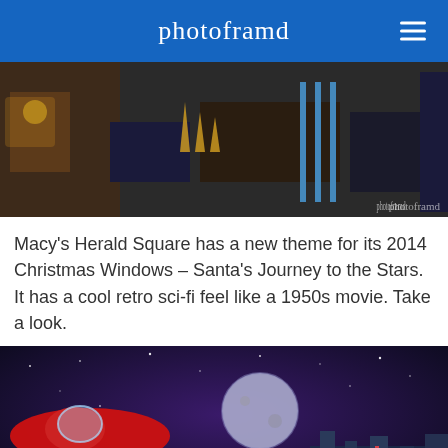photoframd
[Figure (photo): Macy's Herald Square Christmas window display interior showing festive decorations, lights, and holiday scene with photoframd watermark]
Macy's Herald Square has a new theme for its 2014 Christmas Windows – Santa's Journey to the Stars.  It has a cool retro sci-fi feel like a 1950s movie.  Take a look.
[Figure (photo): Macy's Herald Square Christmas window display showing Santa in a space-age sleigh flying through a purple starry sky with reindeer, a moon, and a cityscape below, with photoframd watermark]